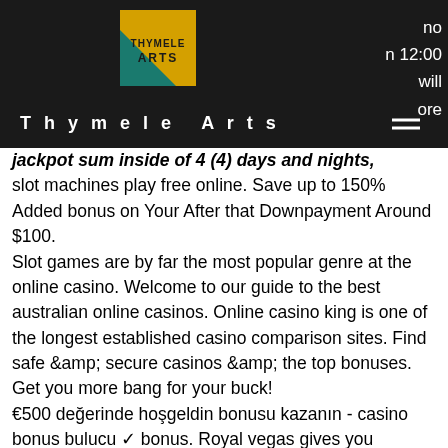Thymele Arts
jackpot sum inside of 4 (4) days and nights, slot machines play free online. Save up to 150% Added bonus on Your After that Downpayment Around $100.
Slot games are by far the most popular genre at the online casino. Welcome to our guide to the best australian online casinos. Online casino king is one of the longest established casino comparison sites. Find safe &amp; secure casinos &amp; the top bonuses. Get you more bang for your buck!
€500 değerinde hoşgeldin bonusu kazanın - casino bonus bulucu ✓ bonus. Royal vegas gives you welcome bonus when you sign up. Play the best online casino games – slots, roulette, video poker and so much more.